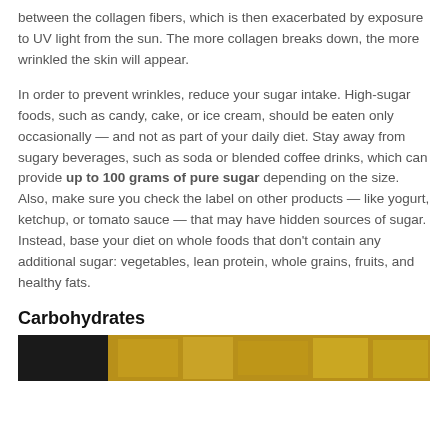between the collagen fibers, which is then exacerbated by exposure to UV light from the sun. The more collagen breaks down, the more wrinkled the skin will appear.
In order to prevent wrinkles, reduce your sugar intake. High-sugar foods, such as candy, cake, or ice cream, should be eaten only occasionally — and not as part of your daily diet. Stay away from sugary beverages, such as soda or blended coffee drinks, which can provide up to 100 grams of pure sugar depending on the size. Also, make sure you check the label on other products — like yogurt, ketchup, or tomato sauce — that may have hidden sources of sugar. Instead, base your diet on whole foods that don't contain any additional sugar: vegetables, lean protein, whole grains, fruits, and healthy fats.
Carbohydrates
[Figure (photo): A food photograph showing items related to carbohydrates, with a dark left section and golden/yellow food items on the right.]